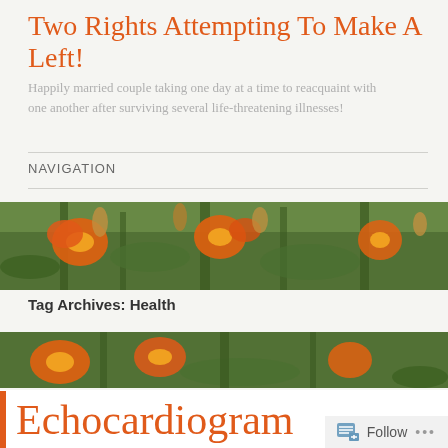Two Rights Attempting To Make A Left!
Happily married couple taking one day at a time to reacquaint with one another after surviving several life-threatening illnesses!
NAVIGATION
[Figure (photo): Banner photo of orange day lilies and green foliage in a garden]
Tag Archives: Health
[Figure (photo): Lower banner photo of orange day lilies and green foliage in a garden]
Echocardiogram
Follow